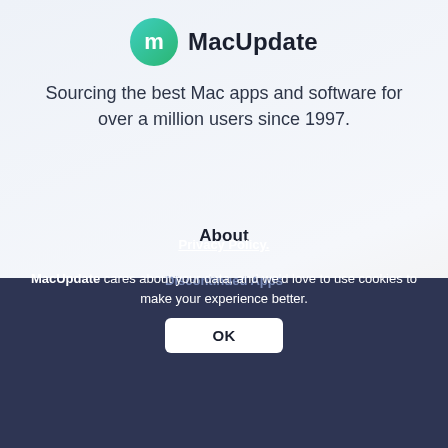[Figure (logo): MacUpdate logo: circular teal-to-green gradient icon with white 'm' letter, next to bold text 'MacUpdate']
Sourcing the best Mac apps and software for over a million users since 1997.
About
Contact
Help
Add App
Discontinued Apps
Privacy Policy.
MacUpdate cares about your data, and we'd love to use cookies to make your experience better.
Terms of Service
OK